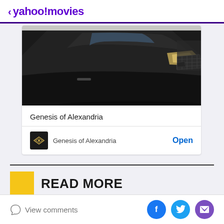< yahoo!movies
[Figure (photo): Black Genesis luxury car photographed from front-side angle in parking lot]
Genesis of Alexandria
Genesis of Alexandria   Open
READ MORE
euronews Videos
View comments